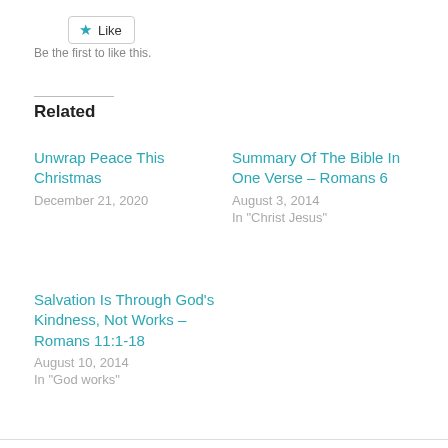[Figure (other): Like button with star icon]
Be the first to like this.
Related
Unwrap Peace This Christmas
December 21, 2020
Summary Of The Bible In One Verse – Romans 6
August 3, 2014
In "Christ Jesus"
Salvation Is Through God’s Kindness, Not Works – Romans 11:1-18
August 10, 2014
In "God works"